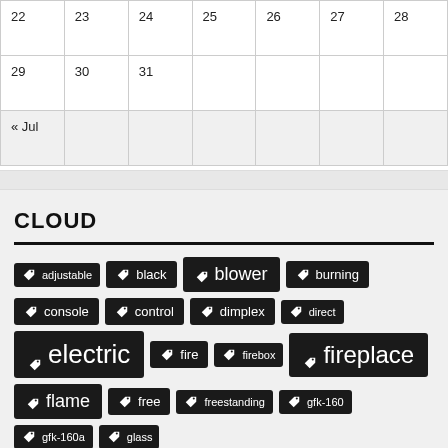| 22 | 23 | 24 | 25 | 26 | 27 | 28 |
| 29 | 30 | 31 |  |  |  |  |
| « Jul |  |  |  |  |  |  |
CLOUD
adjustable
black
blower
burning
console
control
dimplex
direct
electric
fire
firebox
fireplace
flame
free
freestanding
gfk-160
gfk-160a
glass
hearth
heat
heater